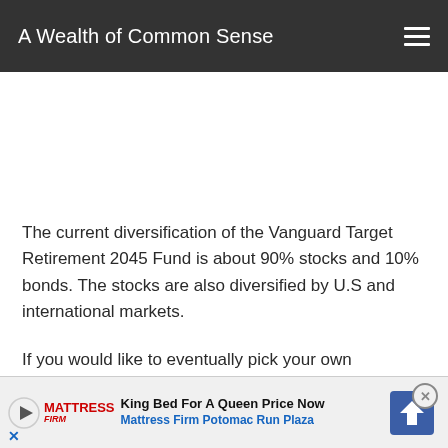A Wealth of Common Sense
[Figure (other): Advertisement space / blank white area]
The current diversification of the Vanguard Target Retirement 2045 Fund is about 90% stocks and 10% bonds. The stocks are also diversified by U.S and international markets.
If you would like to eventually pick your own individual index f... est i... the tar... an
[Figure (other): Ad banner: King Bed For A Queen Price Now - Mattress Firm Potomac Run Plaza]